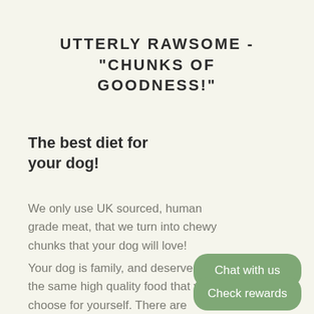UTTERLY RAWSOME - "CHUNKS OF GOODNESS!"
The best diet for your dog!
We only use UK sourced, human grade meat, that we turn into chewy chunks that your dog will love!
Your dog is family, and deserves the same high quality food that you choose for yourself. There are many benefits